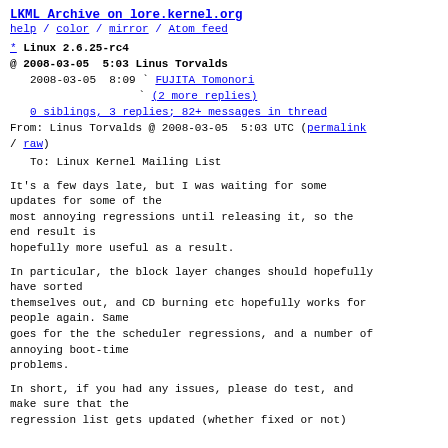LKML Archive on lore.kernel.org
help / color / mirror / Atom feed
* Linux 2.6.25-rc4
@ 2008-03-05  5:03 Linus Torvalds
  2008-03-05  8:09 ` FUJITA Tomonori
                     ` (2 more replies)
  0 siblings, 3 replies; 82+ messages in thread
From: Linus Torvalds @ 2008-03-05  5:03 UTC (permalink / raw)
  To: Linux Kernel Mailing List
It's a few days late, but I was waiting for some updates for some of the
most annoying regressions until releasing it, so the end result is
hopefully more useful as a result.
In particular, the block layer changes should hopefully have sorted
themselves out, and CD burning etc hopefully works for people again. Same
goes for the the scheduler regressions, and a number of annoying boot-time
problems.
In short, if you had any issues, please do test, and make sure that the
regression list gets updated (whether fixed or not)